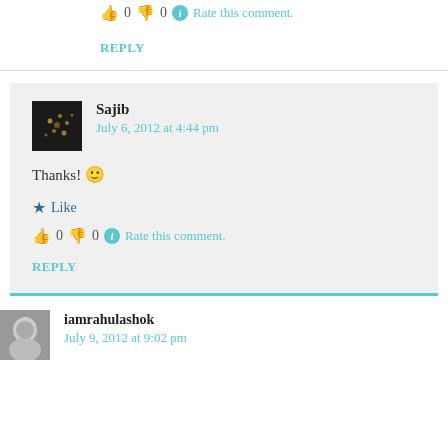👍 0 👎 0 ℹ Rate this comment.
REPLY
Sajib
July 6, 2012 at 4:44 pm
Thanks! 🙂
★ Like
👍 0 👎 0 ℹ Rate this comment.
REPLY
iamrahulashok
July 9, 2012 at 9:02 pm